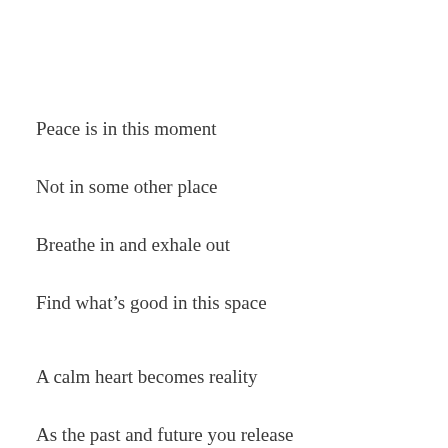Peace is in this moment
Not in some other place
Breathe in and exhale out
Find what’s good in this space
A calm heart becomes reality
As the past and future you release
And the gifts you see before you
With each inhale will increase